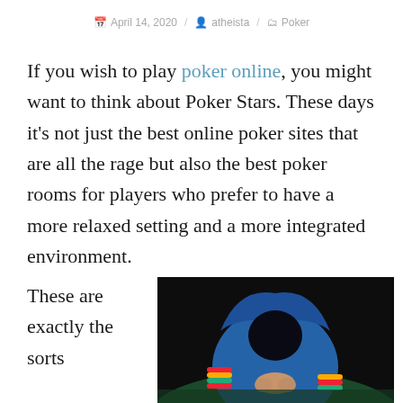April 14, 2020 / atheista / Poker
If you wish to play poker online, you might want to think about Poker Stars. These days it's not just the best online poker sites that are all the rage but also the best poker rooms for players who prefer to have a more relaxed setting and a more integrated environment.
These are exactly the sorts
[Figure (photo): A person wearing a blue hoodie sitting at a poker table with poker chips, head bowed and hands clasped, against a dark background.]